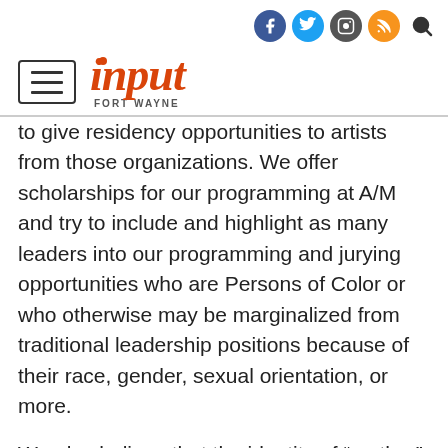input FORT WAYNE
to give residency opportunities to artists from those organizations. We offer scholarships for our programming at A/M and try to include and highlight as many leaders into our programming and jurying opportunities who are Persons of Color or who otherwise may be marginalized from traditional leadership positions because of their race, gender, sexual orientation, or more.
We also believe that the identity of “mother” is an open term and welcome conversations about all types of caregiving in our community. There is always more to do, and while we do this work of